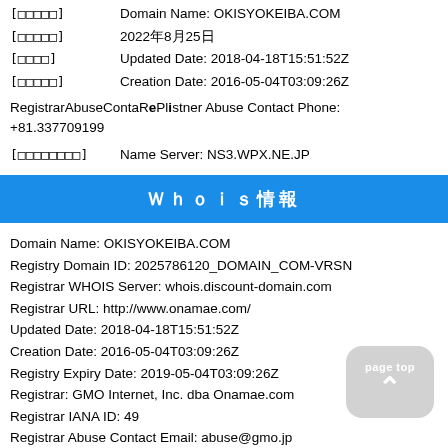[文字化け] Domain Name: OKISYOKEIBA.COM
[文字化け] 2022年8月25日
[文字化け] Updated Date: 2018-04-18T15:51:52Z
[文字化け] Creation Date: 2016-05-04T03:09:26Z
RegistrarAbuseContactPhone: Registrar Abuse Contact Phone: +81.337709199
[ネームサーバー] Name Server: NS3.WPX.NE.JP
Ｗｈｏｉｓ情報
Domain Name: OKISYOKEIBA.COM
Registry Domain ID: 2025786120_DOMAIN_COM-VRSN
Registrar WHOIS Server: whois.discount-domain.com
Registrar URL: http://www.onamae.com/
Updated Date: 2018-04-18T15:51:52Z
Creation Date: 2016-05-04T03:09:26Z
Registry Expiry Date: 2019-05-04T03:09:26Z
Registrar: GMO Internet, Inc. dba Onamae.com
Registrar IANA ID: 49
Registrar Abuse Contact Email: abuse@gmo.jp